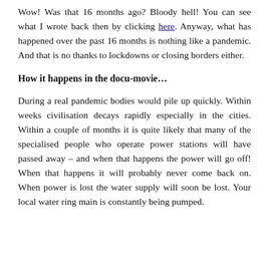Wow! Was that 16 months ago? Bloody hell! You can see what I wrote back then by clicking here. Anyway, what has happened over the past 16 months is nothing like a pandemic. And that is no thanks to lockdowns or closing borders either.
How it happens in the docu-movie…
During a real pandemic bodies would pile up quickly. Within weeks civilisation decays rapidly especially in the cities. Within a couple of months it is quite likely that many of the specialised people who operate power stations will have passed away – and when that happens the power will go off! When that happens it will probably never come back on. When power is lost the water supply will soon be lost. Your local water ring main is constantly being pumped.